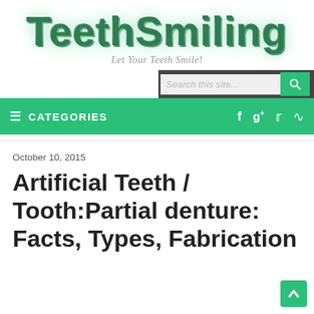[Figure (logo): TeethSmiling website logo in bold green 3D-style text]
Let Your Teeth Smile!
Search this site...
≡ CATEGORIES   f  g+  twitter  rss
October 10, 2015
Artificial Teeth / Tooth:Partial denture: Facts, Types, Fabrication